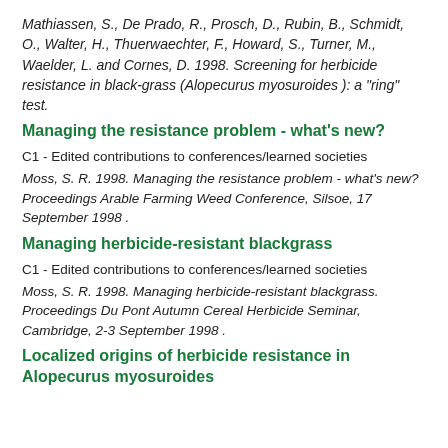Mathiassen, S., De Prado, R., Prosch, D., Rubin, B., Schmidt, O., Walter, H., Thuerwaechter, F., Howard, S., Turner, M., Waelder, L. and Cornes, D. 1998. Screening for herbicide resistance in black-grass (Alopecurus myosuroides ): a "ring" test.
Managing the resistance problem - what's new?
C1 - Edited contributions to conferences/learned societies
Moss, S. R. 1998. Managing the resistance problem - what's new? Proceedings Arable Farming Weed Conference, Silsoe, 17 September 1998 .
Managing herbicide-resistant blackgrass
C1 - Edited contributions to conferences/learned societies
Moss, S. R. 1998. Managing herbicide-resistant blackgrass. Proceedings Du Pont Autumn Cereal Herbicide Seminar, Cambridge, 2-3 September 1998 .
Localized origins of herbicide resistance in Alopecurus myosuroides